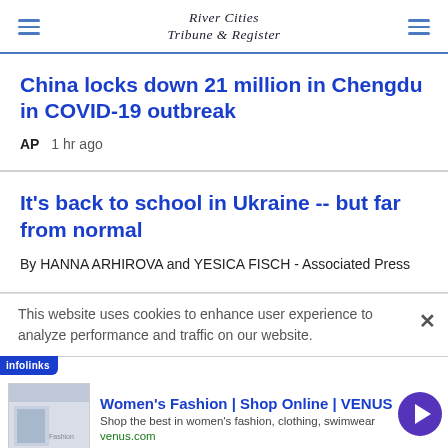River Cities Tribune & Register
China locks down 21 million in Chengdu in COVID-19 outbreak
AP   1 hr ago
It's back to school in Ukraine -- but far from normal
By HANNA ARHIROVA and YESICA FISCH - Associated Press
This website uses cookies to enhance user experience to analyze performance and traffic on our website.
Women's Fashion | Shop Online | VENUS
Shop the best in women's fashion, clothing, swimwear
venus.com